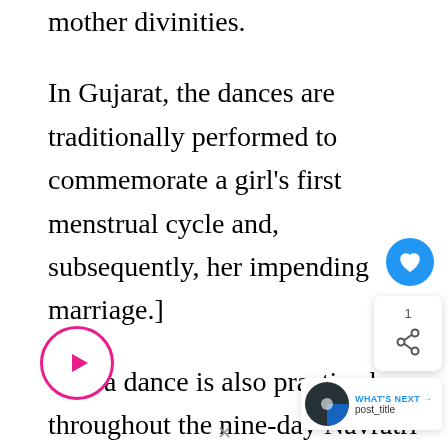mother divinities.
In Gujarat, the dances are traditionally performed to commemorate a girl’s first menstrual cycle and, subsequently, her impending marriage.]
Garba dance is also practiced throughout the nine-day Navratri celebration, although males may join on occasion, women comprise the majority of Garba dancers.